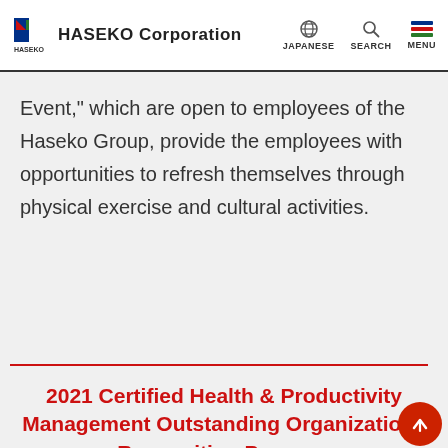HASEKO Corporation | JAPANESE | SEARCH | MENU
Event," which are open to employees of the Haseko Group, provide the employees with opportunities to refresh themselves through physical exercise and cultural activities.
2021 Certified Health & Productivity Management Outstanding Organizations Recognition Program